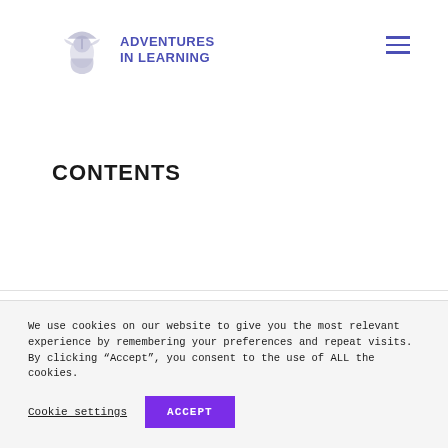Adventures in Learning — logo and navigation header
CONTENTS
We use cookies on our website to give you the most relevant experience by remembering your preferences and repeat visits. By clicking “Accept”, you consent to the use of ALL the cookies.
Cookie settings | ACCEPT